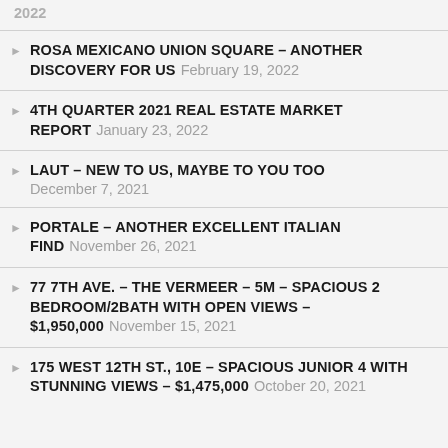2022
ROSA MEXICANO UNION SQUARE – ANOTHER DISCOVERY FOR US February 19, 2022
4TH QUARTER 2021 REAL ESTATE MARKET REPORT January 23, 2022
LAUT – NEW TO US, MAYBE TO YOU TOO December 7, 2021
PORTALE – ANOTHER EXCELLENT ITALIAN FIND November 26, 2021
77 7TH AVE. – THE VERMEER – 5M – SPACIOUS 2 BEDROOM/2BATH WITH OPEN VIEWS – $1,950,000 November 15, 2021
175 WEST 12TH ST., 10E – SPACIOUS JUNIOR 4 WITH STUNNING VIEWS – $1,475,000 October 20, 2021